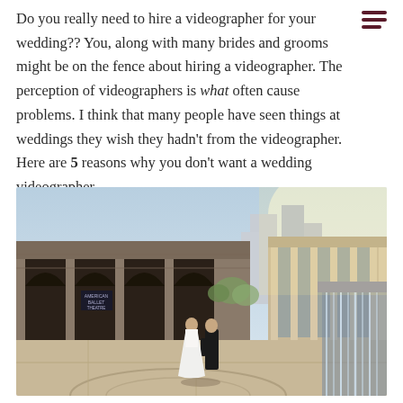Do you really need to hire a videographer for your wedding?? You, along with many brides and grooms might be on the fence about hiring a videographer. The perception of videographers is what often cause problems. I think that many people have seen things at weddings they wish they hadn't from the videographer. Here are 5 reasons why you don't want a wedding videographer.
[Figure (photo): Wedding couple posing in front of a grand arched building (Lincoln Center area) with a fountain on the right side, taken in warm late-afternoon light. The bride is in a white gown and the groom in a black tuxedo.]